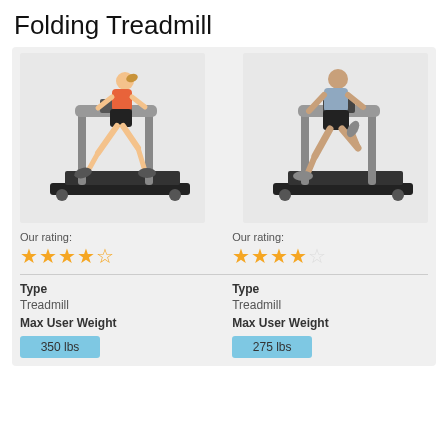Folding Treadmill
[Figure (photo): Two treadmill product images side by side: left shows a woman running on a treadmill, right shows a man running on a treadmill]
Our rating:
Our rating:
Type
Type
Treadmill
Treadmill
Max User Weight
Max User Weight
350 lbs
275 lbs